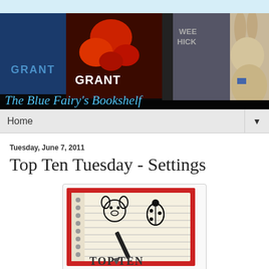[Figure (photo): Blog banner photo showing books on a shelf with spines reading GRANT, and a plush rabbit figurine. Text overlay reads: The Blue Fairy's Bookshelf]
Home ▼
Tuesday, June 7, 2011
Top Ten Tuesday - Settings
[Figure (photo): Top Ten Tuesday logo image showing a notebook with hand-drawn cartoon characters (a dog and a ladybug), a pen, and the text TOP TEN written on lined paper with a red border]